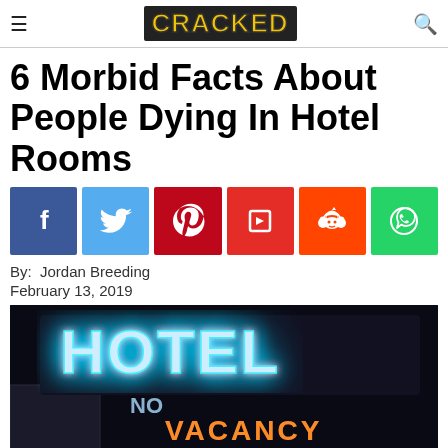CRACKED
6 Morbid Facts About People Dying In Hotel Rooms
[Figure (infographic): Social sharing buttons: Facebook (blue), Twitter (light blue), Pinterest (red), Flipboard (red), Reddit (orange-red), WhatsApp (green)]
By:  Jordan Breeding
February 13, 2019
[Figure (photo): A neon hotel sign reading 'HOTEL' in bright blue/white neon with 'NO VACANCY' in orange-red neon below, against a dark night sky background]